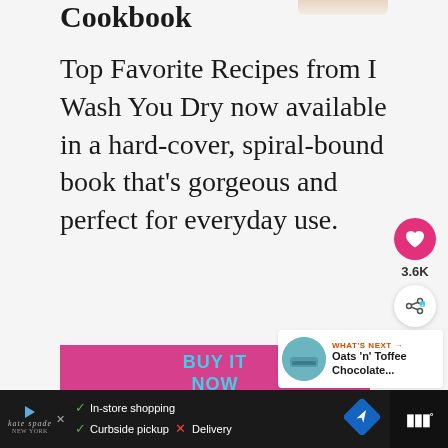Cookbook
Top Favorite Recipes from I Wash You Dry now available in a hard-cover, spiral-bound book that's gorgeous and perfect for everyday use.
BUY IT NOW
[Figure (other): Pink heart/like button with count 3.6K and a share button below]
[Figure (other): What's Next panel showing thumbnail and label 'Oats 'n' Toffee Chocolate...']
[Figure (other): Advertisement bar with Kate Spade branding, In-store shopping, Curbside pickup, Delivery options, navigation icon, and mobile app icon]